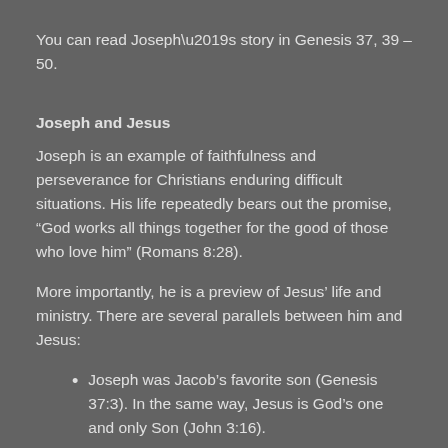You can read Joseph’s story in Genesis 37, 39 – 50.
Joseph and Jesus
Joseph is an example of faithfulness and perseverance for Christians enduring difficult situations. His life repeatedly bears out the promise, “God works all things together for the good of those who love him” (Romans 8:28).
More importantly, he is a preview of Jesus’ life and ministry. There are several parallels between him and Jesus:
Joseph was Jacob’s favorite son (Genesis 37:3). In the same way, Jesus is God’s one and only Son (John 3:16).